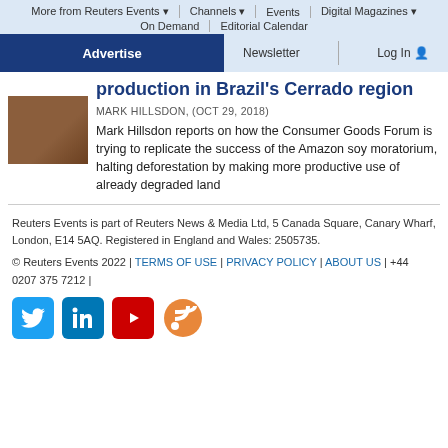More from Reuters Events | Channels | Events | Digital Magazines | On Demand | Editorial Calendar
Advertise | Newsletter | Log In
production in Brazil's Cerrado region
MARK HILLSDON, (OCT 29, 2018)
Mark Hillsdon reports on how the Consumer Goods Forum is trying to replicate the success of the Amazon soy moratorium, halting deforestation by making more productive use of already degraded land
Reuters Events is part of Reuters News & Media Ltd, 5 Canada Square, Canary Wharf, London, E14 5AQ. Registered in England and Wales: 2505735.
© Reuters Events 2022 | TERMS OF USE | PRIVACY POLICY | ABOUT US | +44 0207 375 7212 |